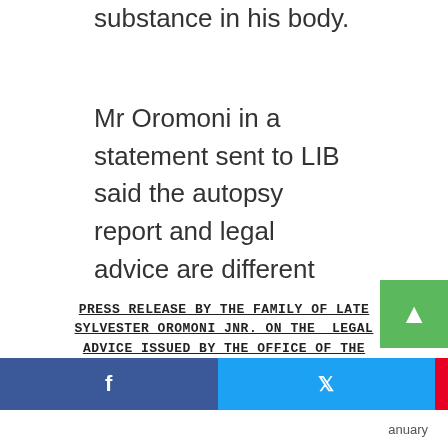substance in his body.
Mr Oromoni in a statement sent to LIB said the autopsy report and legal advice are different from the oral statement from his son before he died and his schoolmates who said he was tortured and given an unknown substance suspected to be poison which led to his death. The distraught father said he has instructed his lawyer, Femi Falana, to take all necessary steps to get justice for his son.
Read the statement below
[Figure (screenshot): Press release document image showing bold underlined text: PRESS RELEASE BY THE FAMILY OF LATE SYLVESTER OROMONI JNR. ON THE LEGAL ADVICE ISSUED BY THE OFFICE OF THE]
anuary